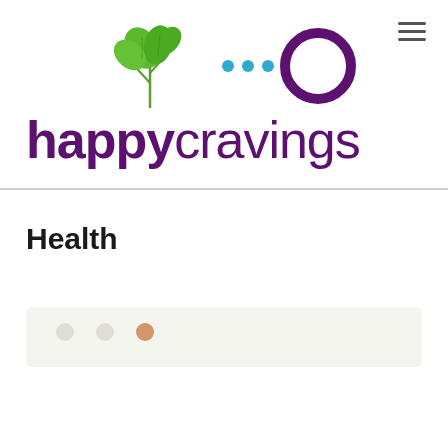[Figure (logo): Happy Cravings logo: green herb/parsley sprig on the left, three cyan dots in the middle, and a purple circle ring on the right, forming a decorative icon]
happycravings
Health
[Figure (photo): Partial view of a food photo with light background, showing small food items on a white surface — beginning of an article card]